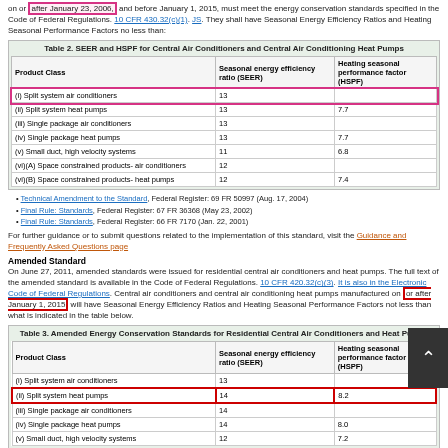on or after January 23, 2006, and before January 1, 2015, must meet the energy conservation standards specified in the Code of Federal Regulations. 10 CFR 430.32(c)(1). JS. They shall have Seasonal Energy Efficiency Ratios and Heating Seasonal Performance Factors no less than:
| Product Class | Seasonal energy efficiency ratio (SEER) | Heating seasonal performance factor (HSPF) |
| --- | --- | --- |
| (i) Split system air conditioners | 13 |  |
| (ii) Split system heat pumps | 13 | 7.7 |
| (iii) Single package air conditioners | 13 |  |
| (iv) Single package heat pumps | 13 | 7.7 |
| (v) Small duct, high velocity systems | 11 | 6.8 |
| (vi)(A) Space constrained products- air conditioners | 12 |  |
| (vi)(B) Space constrained products- heat pumps | 12 | 7.4 |
Technical Amendment to the Standard, Federal Register: 69 FR 50997 (Aug. 17, 2004)
Final Rule: Standards, Federal Register: 67 FR 36368 (May 23, 2002)
Final Rule: Standards, Federal Register: 66 FR 7170 (Jan. 22, 2001)
For further guidance or to submit questions related to the implementation of this standard, visit the Guidance and Frequently Asked Questions page.
Amended Standard
On June 27, 2011, amended standards were issued for residential central air conditioners and heat pumps. The full text of the amended standard is available in the Code of Federal Regulations. 10 CFR 430.32(c)(3). It is also in the Electronic Code of Federal Regulations. Central air conditioners and central air conditioning heat pumps manufactured on or after January 1, 2015 will have Seasonal Energy Efficiency Ratios and Heating Seasonal Performance Factors not less than what is indicated in the table below.
| Product Class | Seasonal energy efficiency ratio (SEER) | Heating seasonal performance factor (HSPF) |
| --- | --- | --- |
| (i) Split system air conditioners | 13 |  |
| (ii) Split system heat pumps | 14 | 8.2 |
| (iii) Single package air conditioners | 14 |  |
| (iv) Single package heat pumps | 14 | 8.0 |
| (v) Small duct, high velocity systems | 12 | 7.2 |
2:36 PM · Jun 16, 2015
Reply   Copy link
Explore what's happening on Twitter